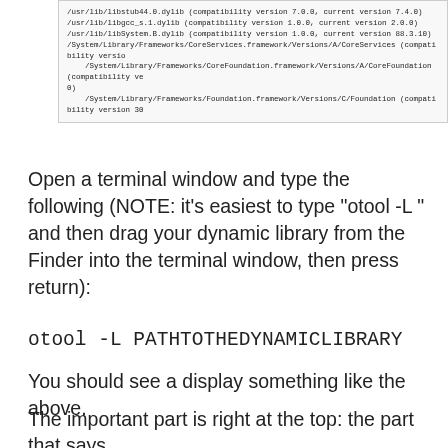[Figure (screenshot): Terminal output showing otool -L result with dynamic library paths including /usr/lib/libstub44.0.dylib, /usr/lib/libgcc_s.1.dylib, /usr/lib/libSystem.B.dylib, /System/Library/Frameworks/CoreServices.framework, /System/Library/Frameworks/CoreFoundation.framework, /System/Library/Frameworks/Foundation.framework]
Open a terminal window and type the following (NOTE: it's easiest to type "otool -L " and then drag your dynamic library from the Finder into the terminal window, then press return):
otool -L PATHTOTHEDYNAMICLIBRARY
You should see a display something like the above.
The important part is right at the top: the part that says "@executable_path/libGoIO_DLL.dylib". The dynamic library might have an absolute path coded in place of the "@executable_path" part.
Step 4: Create a new Build Ste...